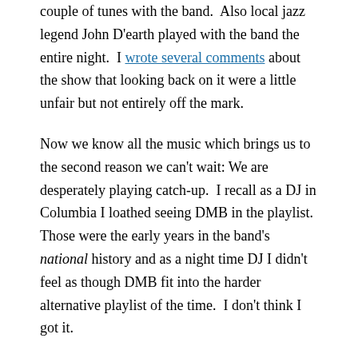couple of tunes with the band.  Also local jazz legend John D'earth played with the band the entire night.  I wrote several comments about the show that looking back on it were a little unfair but not entirely off the mark.
Now we know all the music which brings us to the second reason we can't wait: We are desperately playing catch-up.  I recall as a DJ in Columbia I loathed seeing DMB in the playlist.  Those were the early years in the band's national history and as a night time DJ I didn't feel as though DMB fit into the harder alternative playlist of the time.  I don't think I got it.
Now we do, thanks in large part to Panovec gifting some live CDs.  That spawned our hunger for the live performances and we starting buying the Live Trax series.  For those who are not aware, each DMB show is unique.  The set lists are never the same as the previous show.  In addition, the band frequently has guests sit in.  In the Live Trax series you'll hear artists such as Carlos Santana